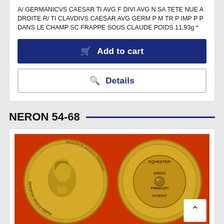A/ GERMANICVS CAESAR TI AVG F DIVI AVG N SA TETE NUE A DROITE R/ TI CLAVDIVS CAESAR AVG GERM P M TR P IMP P P DANS LE CHAMP SC FRAPPE SOUS CLAUDE POIDS 11,93g *
Add to cart
Details
NERON 54-68
[Figure (photo): Two ancient Roman gold coins (aureus) of Nero on a red background. The left coin shows a portrait bust facing left with Latin inscription around the edge. The right coin shows a reverse with text EQVESTER ORDO PRINCIPI IVVENT within a circle, with a small orb in the center.]